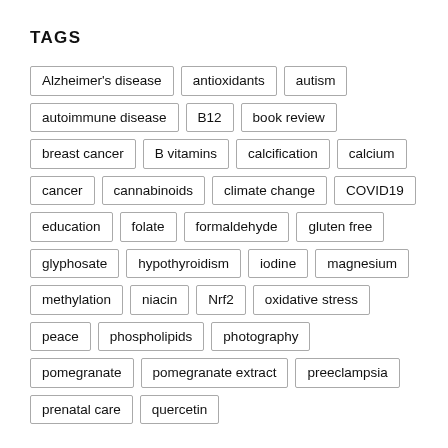TAGS
Alzheimer's disease
antioxidants
autism
autoimmune disease
B12
book review
breast cancer
B vitamins
calcification
calcium
cancer
cannabinoids
climate change
COVID19
education
folate
formaldehyde
gluten free
glyphosate
hypothyroidism
iodine
magnesium
methylation
niacin
Nrf2
oxidative stress
peace
phospholipids
photography
pomegranate
pomegranate extract
preeclampsia
prenatal care
quercetin